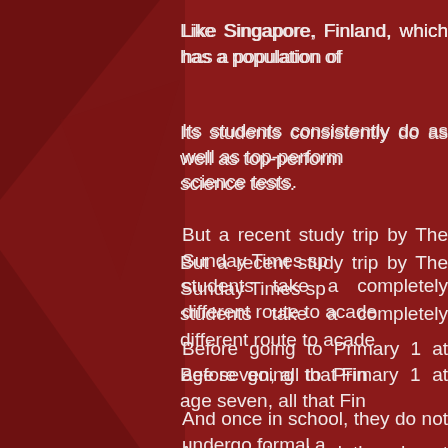Like Singapore, Finland, which has a population of
Its students consistently do as well as top-performing countries in international reading, maths and science tests.
But a recent study trip by The Sunday Times sp... students take a completely different route to acade...
Before going to Primary 1 at age seven, all that Fin...
And once in school, they do not undergo formal a... when they sit for a matriculation examination to en...
There is also little homework for primary and ... standardised testing.
And tuition? That is a concept foreign to most Finn...
Teachers say the equivalent of Singapore's gif...